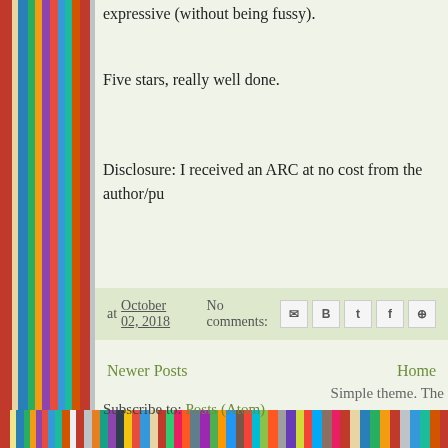expressive (without being fussy).
Five stars, really well done.
Disclosure: I received an ARC at no cost from the author/pu
at October 02, 2018   No comments:
Newer Posts   Home
Subscribe to: Posts (Atom)
Simple theme. The